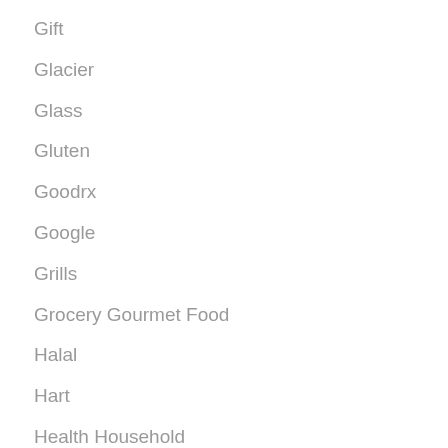Gift
Glacier
Glass
Gluten
Goodrx
Google
Grills
Grocery Gourmet Food
Halal
Hart
Health Household
Heating